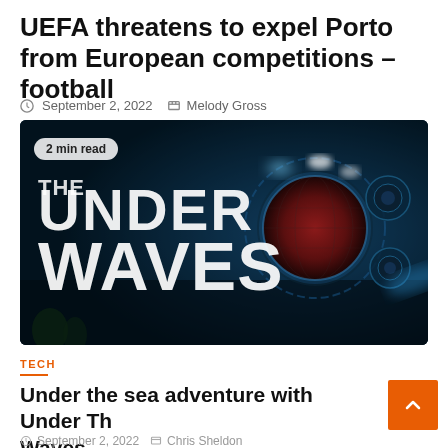UEFA threatens to expel Porto from European competitions – football
September 2, 2022  Melody Gross
[Figure (photo): Promotional image for the video game 'Under The Waves' showing the game logo on a dark blue underwater background with a glowing globe and mechanical elements. A '2 min read' badge appears in the top-left corner.]
TECH
Under the sea adventure with Under The Waves
September 2, 2022  Chris Sheldon